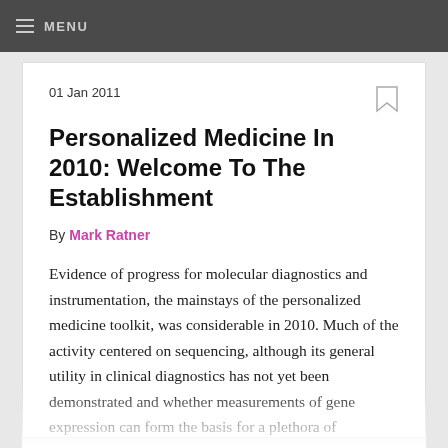MENU
01 Jan 2011
Personalized Medicine In 2010: Welcome To The Establishment
By Mark Ratner
Evidence of progress for molecular diagnostics and instrumentation, the mainstays of the personalized medicine toolkit, was considerable in 2010. Much of the activity centered on sequencing, although its general utility in clinical diagnostics has not yet been demonstrated and whether measurements of gene expression can form the basis for a plethora of molecular tests also remains an open question. In abbreviated form, we list some of the important